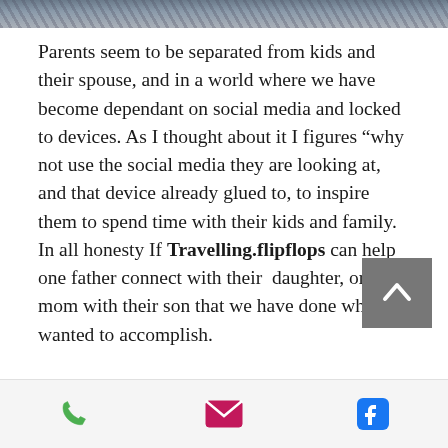[Figure (photo): Top portion of a photo/image with bokeh or nature elements, partially cropped at top of page]
Parents seem to be separated from kids and their spouse, and in a world where we have become dependant on social media and locked to devices. As I thought about it I figures “why not use the social media they are looking at, and that device already glued to, to inspire them to spend time with their kids and family. In all honesty If Travelling.flipflops can help one father connect with their  daughter, or mom with their son that we have done what we wanted to accomplish.
We truly want to change the